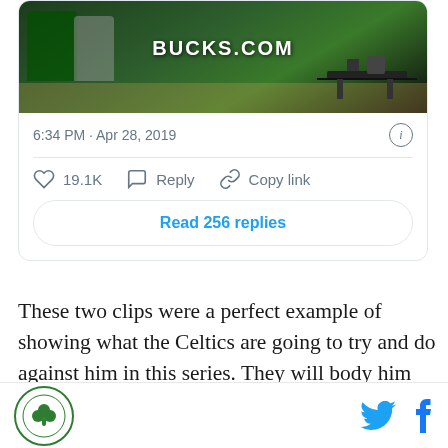[Figure (screenshot): Tweet screenshot showing a basketball image with BUCKS.COM text, timestamp 6:34 PM Apr 28 2019, 19.1K likes, Reply, Copy link actions, and Read 256 replies button]
These two clips were a perfect example of showing what the Celtics are going to try and do against him in this series. They will body him up with anyone that will affect the way he gets to the rim. As the next clip shows, Jaylen Brown also tries to get in his way at the top of the key. Giannis has a great spin move to get
[Figure (logo): Green circular logo with shamrock/clover leaf design]
[Figure (logo): Twitter bird icon in blue and Facebook f icon in blue]